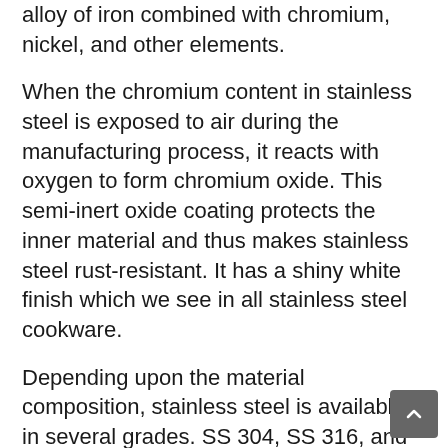alloy of iron combined with chromium, nickel, and other elements.
When the chromium content in stainless steel is exposed to air during the manufacturing process, it reacts with oxygen to form chromium oxide. This semi-inert oxide coating protects the inner material and thus makes stainless steel rust-resistant. It has a shiny white finish which we see in all stainless steel cookware.
Depending upon the material composition, stainless steel is available in several grades. SS 304, SS 316, and SS 430 are the best choices for food-safe stainless steel cookware for daily and occasional uses.